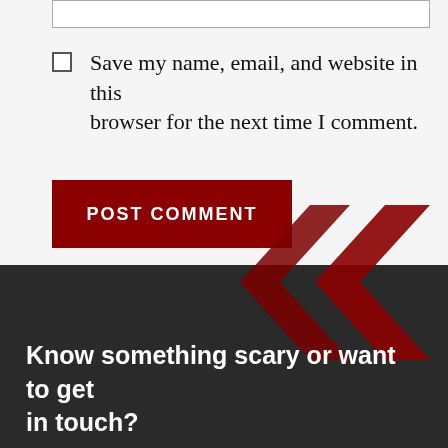Save my name, email, and website in this browser for the next time I comment.
POST COMMENT
[Figure (illustration): Two overlapping dark red chevron/double-arrow shapes pointing left, used as a decorative graphic element]
Know something scary or want to get in touch?